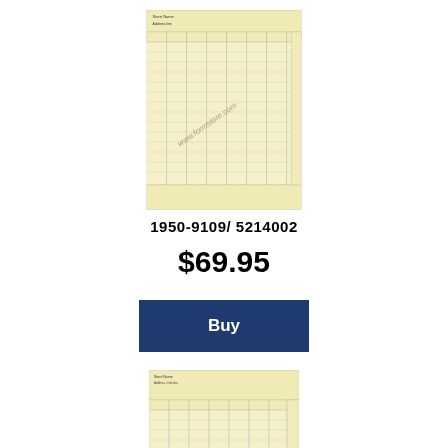[Figure (illustration): Yellow ledger/accounting form with diagonal watermark text, product image for 1950-9109/5214002]
1950-9109/ 5214002
$69.95
[Figure (other): Buy button — dark navy blue rectangle with white 'Buy' text]
[Figure (illustration): Yellow ledger/accounting form with diagonal watermark text, product image for 1950-9110/5214003]
1950-9110/ 5214003